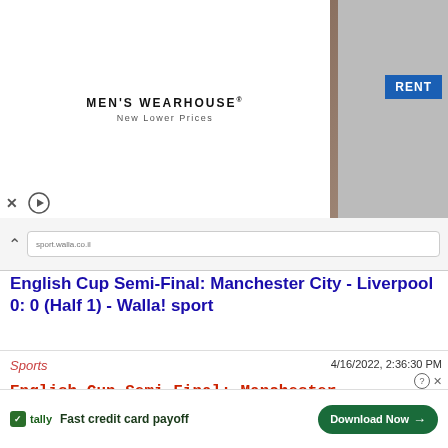[Figure (photo): Men's Wearhouse advertisement banner showing a couple in formal wear and a man in a suit, with a RENT button]
English Cup Semi-Final: Manchester City - Liverpool 0: 0 (Half 1) - Walla! sport
Sports
4/16/2022, 2:36:30 PM
English Cup Semi-Final: Manchester City - Liverpool 0: 0 (Half 1) - Walla! sport
[Figure (screenshot): Tally app advertisement: Fast credit card payoff, Download Now button, Close X overlay button]